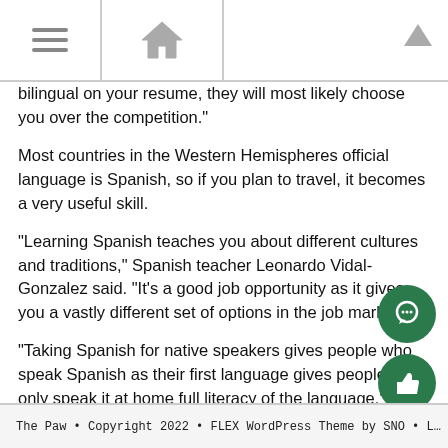[Navigation bar with hamburger menu, home icon, and up arrow]
bilingual on your resume, they will most likely choose you over the competition."
Most countries in the Western Hemispheres official language is Spanish, so if you plan to travel, it becomes a very useful skill.
“Learning Spanish teaches you about different cultures and traditions,” Spanish teacher Leonardo Vidal-Gonzalez said. “It’s a good job opportunity as it gives you a vastly different set of options in the job market.”
“Taking Spanish for native speakers gives people who speak Spanish as their first language gives people who only speak it at home full literacy of the language.” Resnick said.
Whether it be for personal gain, plans for travel in the future, or just to do it for fun, taking Spanish opens a wide range of opportunities in the future.
The Paw • Copyright 2022 • FLEX WordPress Theme by SNO • L…